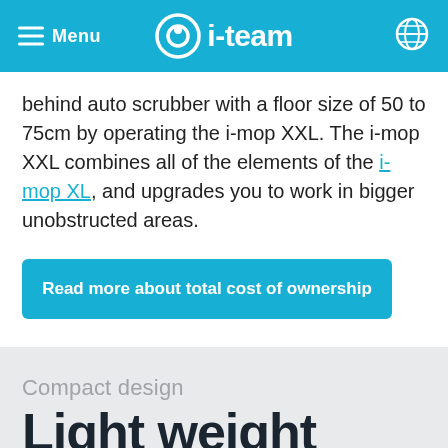Menu  i-team
behind auto scrubber with a floor size of 50 to 75cm by operating the i-mop XXL. The i-mop XXL combines all of the elements of the i-mop XL, and upgrades you to work in bigger unobstructed areas.
Read more about total cost of ownership
Compact design
Light weight